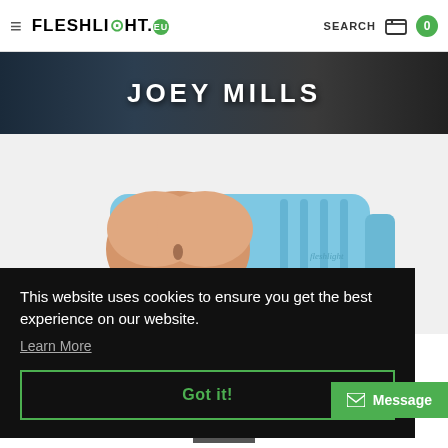FLESHLIGHT.EU — SEARCH  0
JOEY MILLS
[Figure (photo): Product photo of a Fleshlight adult toy with light blue casing and flesh-colored orifice top, on white background]
This website uses cookies to ensure you get the best experience on our website.
Learn More
Got it!